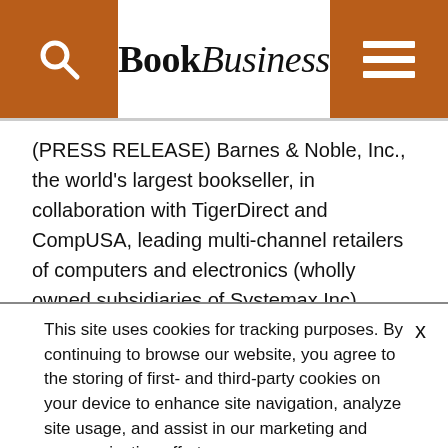BookBusiness
(PRESS RELEASE) Barnes & Noble, Inc., the world's largest bookseller, in collaboration with TigerDirect and CompUSA, leading multi-channel retailers of computers and electronics (wholly owned subsidiaries of Systemax Inc), announced Nov. 4 they will be bringing the company's award-winning line of NOOK eReading devices and related accessories to retail stores nationwide including
This site uses cookies for tracking purposes. By continuing to browse our website, you agree to the storing of first- and third-party cookies on your device to enhance site navigation, analyze site usage, and assist in our marketing and communication efforts. Privacy Policy | Terms of Use | Close